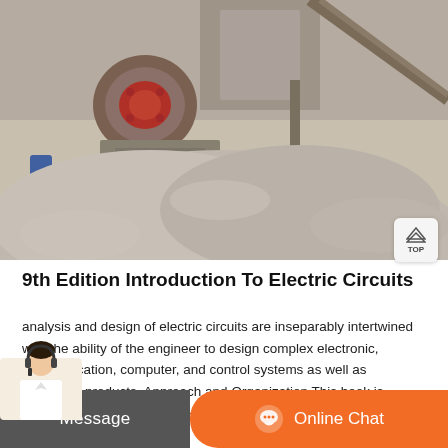[Figure (photo): Industrial mining/crushing equipment with large jaw crusher machine surrounded by grey crushed stone/gravel material, with conveyor belt structure in background]
9th Edition Introduction To Electric Circuits
analysis and design of electric circuits are inseparably intertwined with the ability of the engineer to design complex electronic, communication, computer, and control systems as well as consumer products. Approach and Organization This book is designed for a one- to three-term course in electric circuits or linear circuit analysis and in
[Figure (other): Bottom navigation bar with Message button (grey) and Online Chat button (orange with chat icon), and customer service agent photo on lower left]